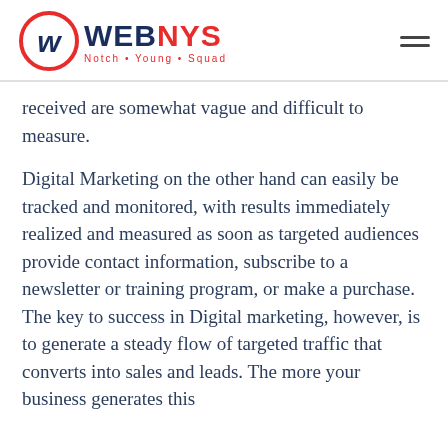WEBNYS Notch • Young • Squad
received are somewhat vague and difficult to measure.
Digital Marketing on the other hand can easily be tracked and monitored, with results immediately realized and measured as soon as targeted audiences provide contact information, subscribe to a newsletter or training program, or make a purchase. The key to success in Digital marketing, however, is to generate a steady flow of targeted traffic that converts into sales and leads. The more your business generates this